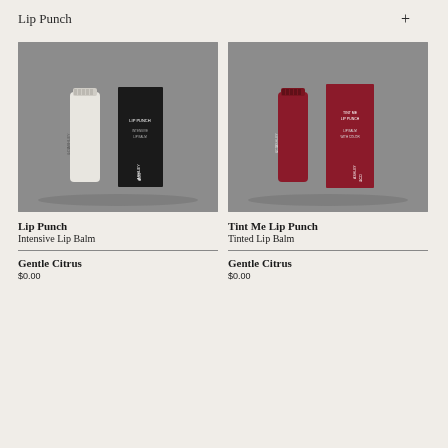Lip Punch
[Figure (photo): Ashley & Co Lip Punch Intensive Lip Balm tube and box product photo on grey background]
Lip Punch
Intensive Lip Balm
[Figure (photo): Ashley & Co Tint Me Lip Punch Tinted Lip Balm tube and box in red/burgundy color product photo on grey background]
Tint Me Lip Punch
Tinted Lip Balm
Gentle Citrus
Gentle Citrus